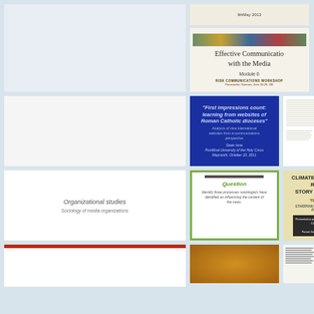[Figure (screenshot): Blank/empty slide thumbnail, light blue-grey background]
[Figure (screenshot): Slide with date '9th May 2013' at top]
[Figure (screenshot): Slide: 'Effective Communication with the Media, Module 6, RISK COMMUNICATIONS WORKSHOP, Paramaribo, Surinam, June 26-29, 2011']
[Figure (screenshot): Blank white slide thumbnail]
[Figure (screenshot): Dark blue slide: 'First impressions count: learning from websites of Roman Catholic dioceses' - Analysis of nine international websites from a communications perspective. Dean Iona, Pontifical University of the Holy Cross, Maynooth, October 10, 2011]
[Figure (screenshot): Document page with columns of text and a cross/medical symbol]
[Figure (screenshot): White slide: Organizational studies / Sociology of media organizations]
[Figure (screenshot): Slide with green border: Question - identify three processes sociologists have identified as influencing the content of the news]
[Figure (screenshot): Slide: CLIMATE CHANGE: HOW TO REPORT THE STORY OF THE CENTURY - Tesfu Birbirsa, Ethiopian Environment Journalists Association (EEJA)]
[Figure (screenshot): White slide with red top bar (partial, bottom of page)]
[Figure (screenshot): Orange/gold decorative slide (partial, bottom of page)]
[Figure (screenshot): Document page with German eagle logo (partial, bottom of page)]